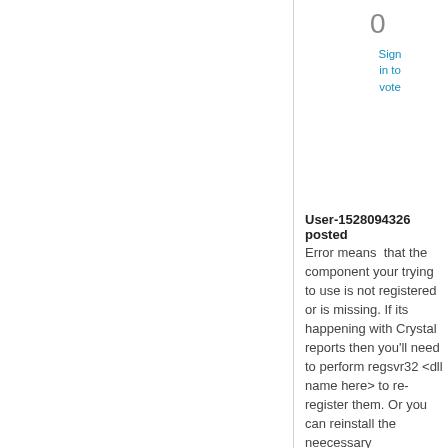0
Sign in to vote
User-1528094326 posted
Error means  that the component your trying to use is not registered or is missing. If its happening with Crystal reports then you'll need to perform regsvr32 <dll name here> to re-register them. Or you can reinstall the neecessary components and that will probably fix it too.
Tuesday, February 8, 2011 7:08 PM